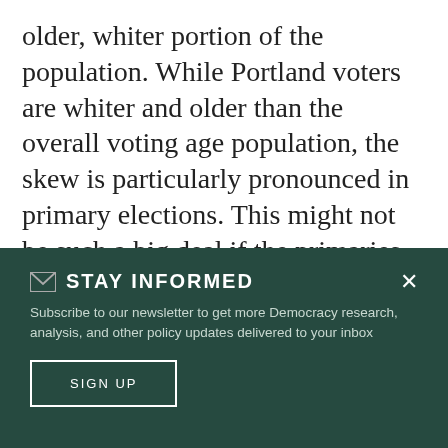older, whiter portion of the population. While Portland voters are whiter and older than the overall voting age population, the skew is particularly pronounced in primary elections. This might not be such a big deal if the primaries weren't that important, but in Portland city elections, they are often all-important! When city elections end with the primary, they disenfranchise 100,000
✉ STAY INFORMED
Subscribe to our newsletter to get more Democracy research, analysis, and other policy updates delivered to your inbox
SIGN UP